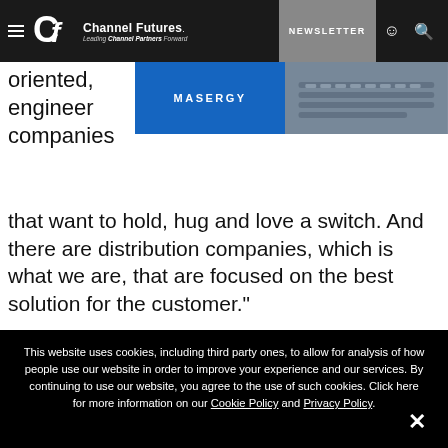Channel Futures. Leading Channel Partners Forward | NEWSLETTER
[Figure (screenshot): Masergy advertisement banner with blue background and photo of laptop/keyboard]
oriented, engineer companies that want to hold, hug and love a switch. And there are distribution companies, which is what we are, that are focused on the best solution for the customer."
This website uses cookies, including third party ones, to allow for analysis of how people use our website in order to improve your experience and our services. By continuing to use our website, you agree to the use of such cookies. Click here for more information on our Cookie Policy and Privacy Policy.